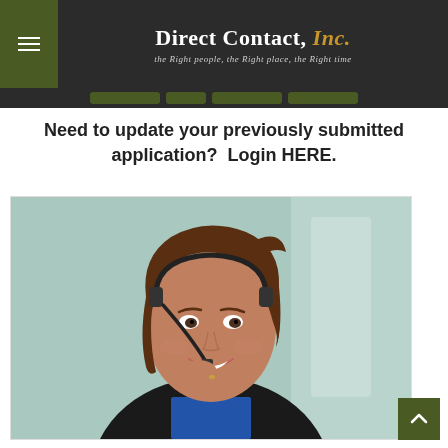Direct Contact, Inc. — the Right people, the Right place, the Right time
Need to update your previously submitted application?  Login HERE.
[Figure (photo): Smiling woman wearing a headset/telephone headset, dressed in a dark blazer, with a blurred light-blue background. She appears to be a customer service representative.]